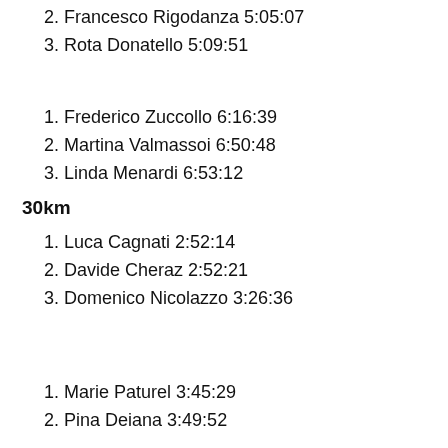2. Francesco Rigodanza 5:05:07
3. Rota Donatello 5:09:51
1. Frederico Zuccollo 6:16:39
2. Martina Valmassoi 6:50:48
3. Linda Menardi 6:53:12
30km
1. Luca Cagnati 2:52:14
2. Davide Cheraz 2:52:21
3. Domenico Nicolazzo 3:26:36
1. Marie Paturel 3:45:29
2. Pina Deiana 3:49:52